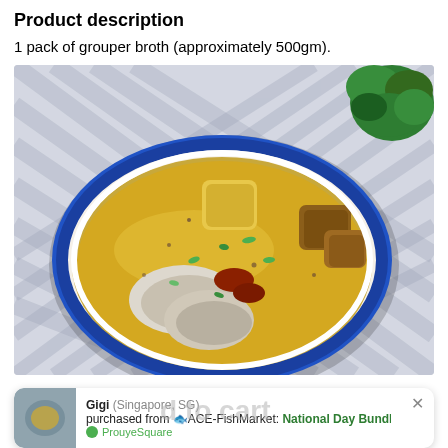Product description
1 pack of grouper broth (approximately 500gm).
[Figure (photo): Overhead photo of a white ceramic bowl with blue rim containing grouper broth with fish pieces, tofu, vegetables, pineapple chunks, and green herbs, set on a blue and white checkered cloth background with parsley garnish in the corner.]
Gigi (Singapore, SG) purchased from 🐟ACE-FishMarket: National Day Bundle Sale  a hour ago  ● ProuyeSquare